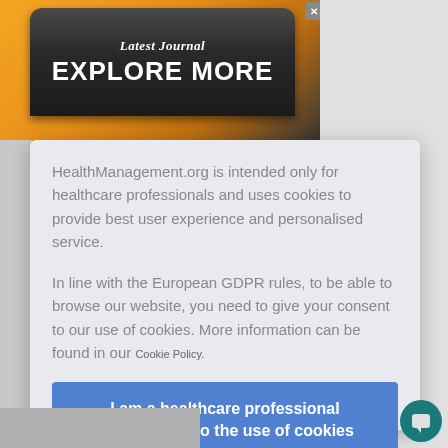[Figure (illustration): Advertisement banner with orange/gold and dark metallic gradient background, showing 'Latest Journal' in italic text and 'EXPLORE MORE' in large bold white uppercase letters on a dark rounded pill shape. Close X button in top right.]
HealthManagement.org is intended only for healthcare professionals and uses cookies to provide best user experience and personalised service.
In line with the European GDPR rules, to be able to browse our website, you need to give your consent to our use of cookies. More information can be found in our Cookie Policy.
I am a healthcare professional and consent to the use of cookies